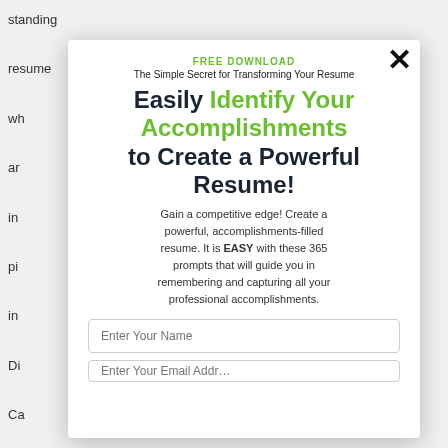standing
resume
wh
ar
in
pi
in
Di
Ca
Se
Di
Do
re
ou
× (close button)
FREE DOWNLOAD
The Simple Secret for Transforming Your Resume
Easily Identify Your Accomplishments to Create a Powerful Resume!
Gain a competitive edge! Create a powerful, accomplishments-filled resume. It is EASY with these 365 prompts that will guide you in remembering and capturing all your professional accomplishments.
Enter Your Name
Enter Your Email Address